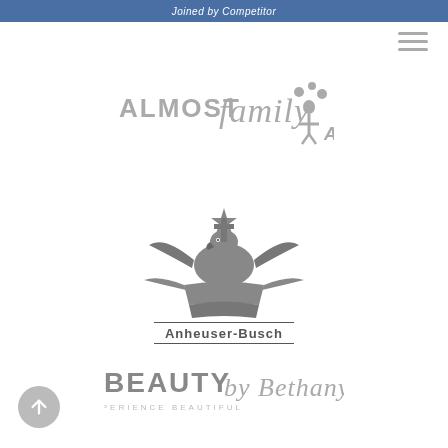Joined by Competitor
[Figure (logo): Almost Family logo in gray]
[Figure (logo): Anheuser-Busch eagle crest logo in gray]
[Figure (logo): Beauty by Bethany logo with tagline EXPERIENCE BEAUTIFUL]